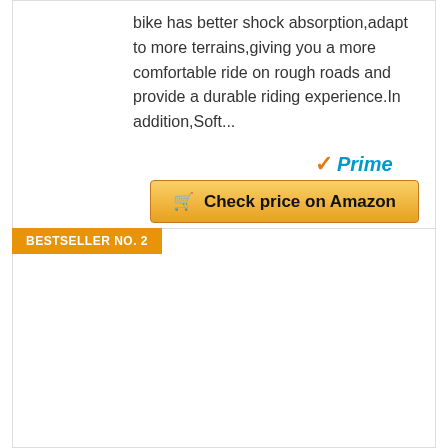bike has better shock absorption,adapt to more terrains,giving you a more comfortable ride on rough roads and provide a durable riding experience.In addition,Soft...
[Figure (logo): Amazon Prime logo with orange checkmark and blue italic 'Prime' text]
Check price on Amazon
BESTSELLER NO. 2